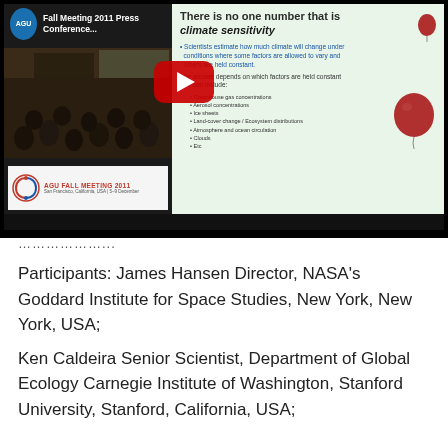[Figure (screenshot): YouTube video thumbnail showing AGU Fall Meeting 2011 Press Conference with a presentation slide about climate sensitivity, featuring a YouTube play button overlay. The slide text reads 'There is no one number that is climate sensitivity' and contains bullet points about factors affecting climate estimates.]
………………..
Participants: James Hansen Director, NASA's Goddard Institute for Space Studies, New York, New York, USA;
Ken Caldeira Senior Scientist, Department of Global Ecology Carnegie Institute of Washington, Stanford University, Stanford, California, USA;